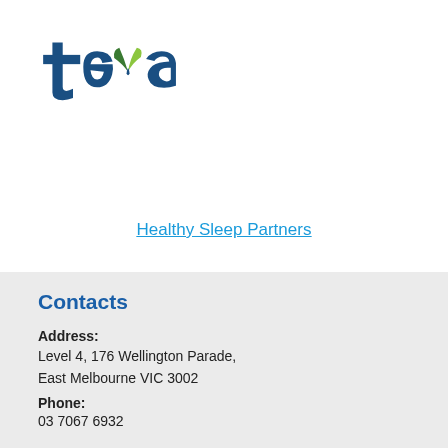[Figure (logo): Teva pharmaceutical logo with stylized green leaf design and dark blue text]
Healthy Sleep Partners
Contacts
Address:
Level 4, 176 Wellington Parade,
East Melbourne VIC 3002
Phone:
03 7067 6932